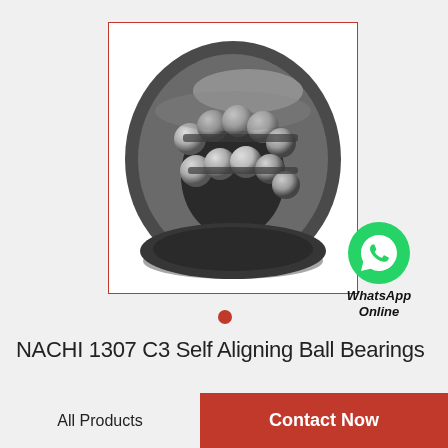[Figure (photo): NACHI 1307 C3 self aligning ball bearing shown at an angle, displaying two rows of steel balls in a dark metallic outer ring, with a concave inner race visible]
[Figure (logo): WhatsApp green circle logo with phone handset icon, labeled 'WhatsApp Online' in italic bold text below]
NACHI 1307 C3 Self Aligning Ball Bearings
All Products
Contact Now